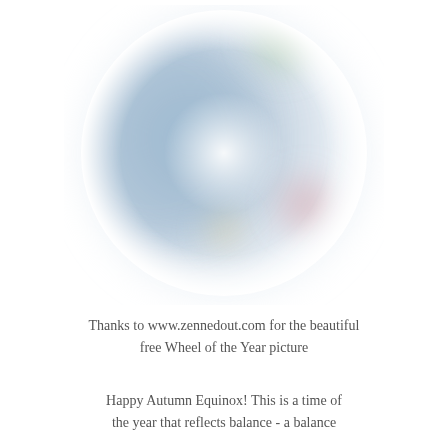[Figure (illustration): A blurry, softly rendered circular image depicting a Wheel of the Year — a colorful mandala-like circle with muted blue, green, pink, and soft yellow tones, blurred and diffused giving a dreamy watercolor effect. The background fades to white around the edges of the circle.]
Thanks to www.zennedout.com for the beautiful free Wheel of the Year picture
Happy Autumn Equinox!  This is a time of the year that reflects balance - a balance